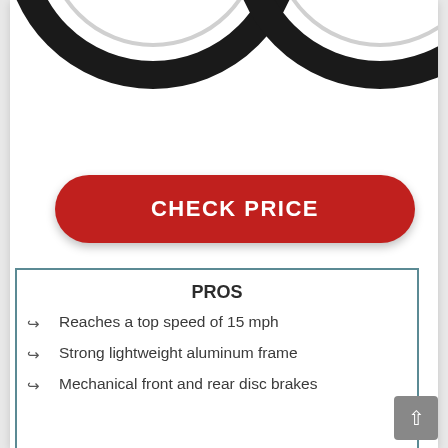[Figure (photo): Partial view of two bicycle wheels (top portions visible) against white background]
CHECK PRICE
PROS
Reaches a top speed of 15 mph
Strong lightweight aluminum frame
Mechanical front and rear disc brakes